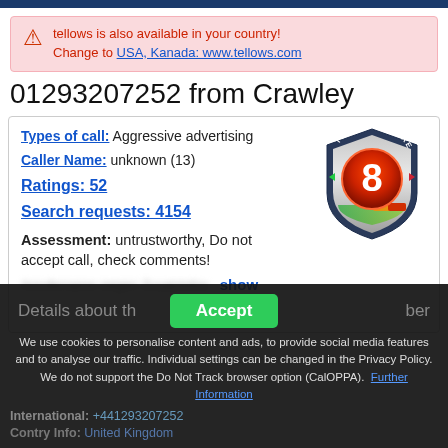tellows is also available in your country! Change to USA, Kanada: www.tellows.com
01293207252 from Crawley
Types of call: Aggressive advertising
Caller Name: unknown (13)
Ratings: 52
Search requests: 4154
Assessment: untrustworthy, Do not accept call, check comments!
[Figure (infographic): Tellows Score badge showing score of 8 on a shield with red/orange/green gradient]
Details about the number
We use cookies to personalise content and ads, to provide social media features and to analyse our traffic. Individual settings can be changed in the Privacy Policy. We do not support the Do Not Track browser option (CalOPPA). Further Information
International: +441293207252